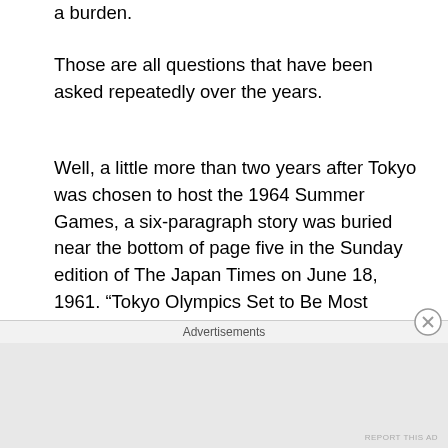a burden.
Those are all questions that have been asked repeatedly over the years.
Well, a little more than two years after Tokyo was chosen to host the 1964 Summer Games, a six-paragraph story was buried near the bottom of page five in the Sunday edition of The Japan Times on June 18, 1961. “Tokyo Olympics Set to Be Most Costly Thus Far,” the headline stated.
Speaking from Rome, IOC president Avery Brundage revealed that “ Japanese organizers had boosted their
Advertisements